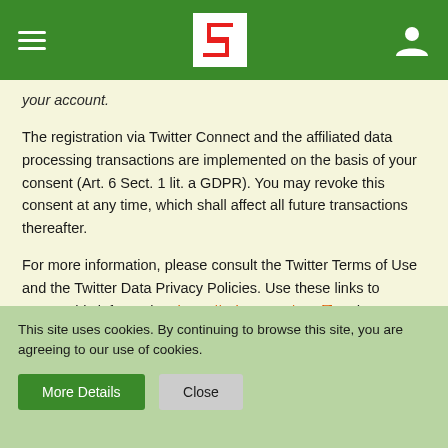[Suzuki navigation bar with hamburger menu, Suzuki logo, and user icon]
your account.
The registration via Twitter Connect and the affiliated data processing transactions are implemented on the basis of your consent (Art. 6 Sect. 1 lit. a GDPR). You may revoke this consent at any time, which shall affect all future transactions thereafter.
For more information, please consult the Twitter Terms of Use and the Twitter Data Privacy Policies. Use these links to access this information: https://twitter.com/tos and https://twitter.com/privacy.
Registration with GitHub
This site uses cookies. By continuing to browse this site, you are agreeing to our use of cookies.